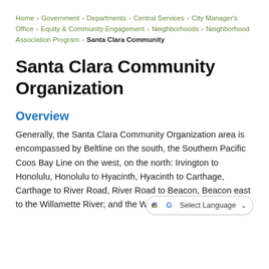Home › Government › Departments › Central Services › City Manager's Office › Equity & Community Engagement › Neighborhoods › Neighborhood Association Program › Santa Clara Community
Santa Clara Community Organization
Overview
Generally, the Santa Clara Community Organization area is encompassed by Beltline on the south, the Southern Pacific Coos Bay Line on the west, on the north: Irvington to Honolulu, Honolulu to Hyacinth, Hyacinth to Carthage, Carthage to River Road, River Road to Beacon, Beacon east to the Willamette River; and the Willamette River on the east.